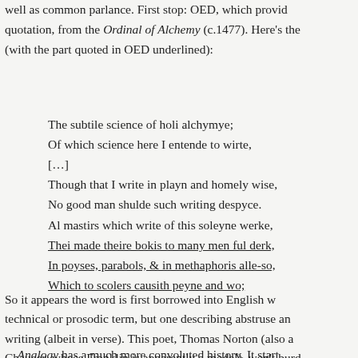well as common parlance. First stop: OED, which provid quotation, from the Ordinal of Alchemy (c.1477). Here's th (with the part quoted in OED underlined):
The subtile science of holi alchymye;
Of which science here I entende to wirte,
[…]
Though that I write in playn and homely wise,
No good man shulde such writing despyce.
Al mastirs which write of this soleyne werke,
Thei made theire bokis to many men ful derk,
In poyses, parabols, & in methaphoris alle-so,
Which to scolers causith peyne and wo;
So it appears the word is first borrowed into English w technical or prosodic term, but one describing abstruse an writing (albeit in verse). This poet, Thomas Norton (also a Chaucer, whose Franklin is apparently a model), won't burd he says (in couplets).
Analogy has a much more convoluted history. It start